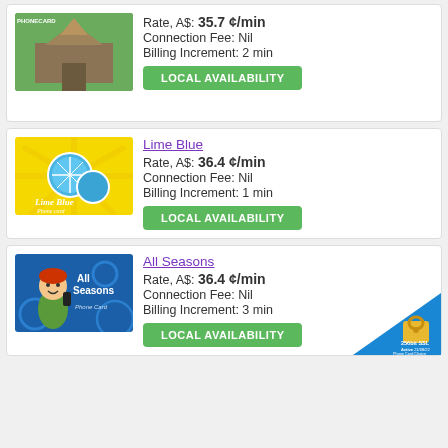[Figure (photo): Phone card image showing Thai temple]
Rate, A$: 35.7 ¢/min
Connection Fee: Nil
Billing Increment: 2 min
LOCAL AVAILABILITY
Lime Blue
[Figure (illustration): Lime Blue phone card with blue lime slices on yellow background]
Rate, A$: 36.4 ¢/min
Connection Fee: Nil
Billing Increment: 1 min
LOCAL AVAILABILITY
All Seasons
[Figure (illustration): All Seasons phone card with cartoon boy on blue background]
Rate, A$: 36.4 ¢/min
Connection Fee: Nil
Billing Increment: 3 min
LOCAL AVAILABILITY
[Figure (logo): 256bit SSL Active 21/08/22 Phone Card Choices security badge]